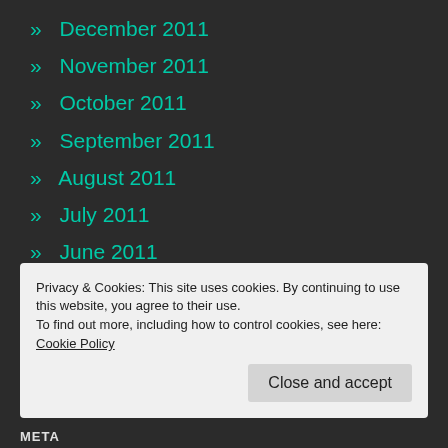» December 2011
» November 2011
» October 2011
» September 2011
» August 2011
» July 2011
» June 2011
» May 2011
» April 2011
» March 2011
Privacy & Cookies: This site uses cookies. By continuing to use this website, you agree to their use.
To find out more, including how to control cookies, see here: Cookie Policy
Close and accept
META